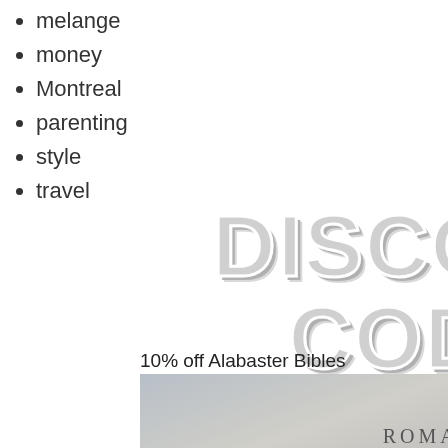melange
money
Montreal
parenting
style
travel
[Figure (illustration): Large decorative text reading DISCOUNT CODES in bold gray letters with shadow effect]
10% off Alabaster Bibles
[Figure (photo): Photo of silky fabric with a small card reading ROMAN]
over t 'Insta that is time, l recipe and I'l